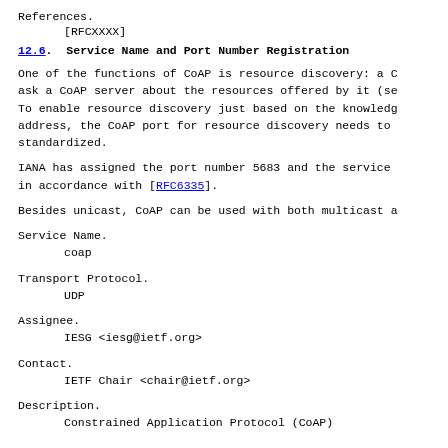References.
    [RFCXXXX]
12.6.  Service Name and Port Number Registration
One of the functions of CoAP is resource discovery: a C ask a CoAP server about the resources offered by it (se To enable resource discovery just based on the knowledg address, the CoAP port for resource discovery needs to standardized.
IANA has assigned the port number 5683 and the service in accordance with [RFC6335].
Besides unicast, CoAP can be used with both multicast a
Service Name.
    coap
Transport Protocol.
    UDP
Assignee.
    IESG <iesg@ietf.org>
Contact.
    IETF Chair <chair@ietf.org>
Description.
    Constrained Application Protocol (CoAP)